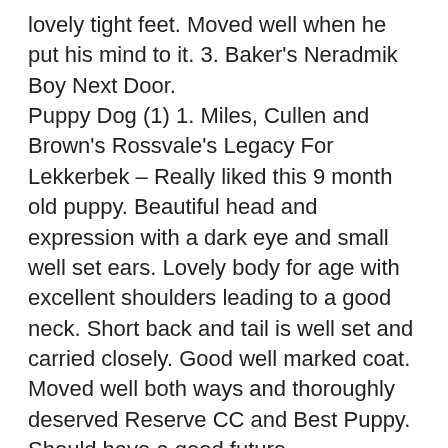lovely tight feet. Moved well when he put his mind to it. 3. Baker's Neradmik Boy Next Door. Puppy Dog (1) 1. Miles, Cullen and Brown's Rossvale's Legacy For Lekkerbek – Really liked this 9 month old puppy. Beautiful head and expression with a dark eye and small well set ears. Lovely body for age with excellent shoulders leading to a good neck. Short back and tail is well set and carried closely. Good well marked coat. Moved well both ways and thoroughly deserved Reserve CC and Best Puppy. Should have a good future. Junior Dog(1) 1. Newman's Leazehond Lightening Bolt. – Beautifully shaped 14 month old boy. Very sweet head with a dark well shaped eye and lovely small well set ears. Good in body that is well ribbed and short coupled and carries his well set